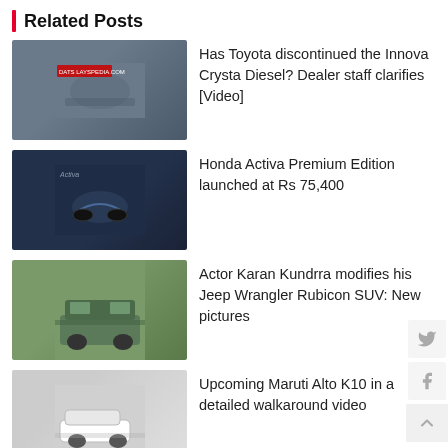Related Posts
Has Toyota discontinued the Innova Crysta Diesel? Dealer staff clarifies [Video]
Honda Activa Premium Edition launched at Rs 75,400
Actor Karan Kundrra modifies his Jeep Wrangler Rubicon SUV: New pictures
Upcoming Maruti Alto K10 in a detailed walkaround video
All-new Alto K10 launched in India at Rs 3.9 lakh
Traffic cops lift Honda Activa from no-parking zone with owner still sitting on it